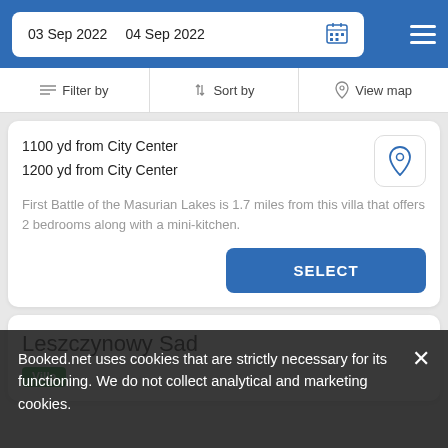03 Sep 2022   04 Sep 2022
Filter by   Sort by   View map
1100 yd from City Center
1200 yd from City Center
First Battle of the Masurian Lakes is 1.7 miles from this villa that offers 2 bedrooms along with a mini-kitchen.
SELECT
Leszczynowy Sad
Villa
Booked.net uses cookies that are strictly necessary for its functioning. We do not collect analytical and marketing cookies.